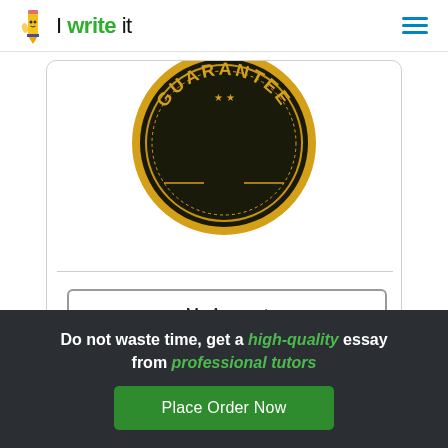I write it
[Figure (illustration): Gold guarantee seal/badge with dark background and text 'GUARANTEE', partially cropped at top, inside a rounded card container]
My Account
Do not waste time, get a high-quality essay from professional tutors
Place Order Now